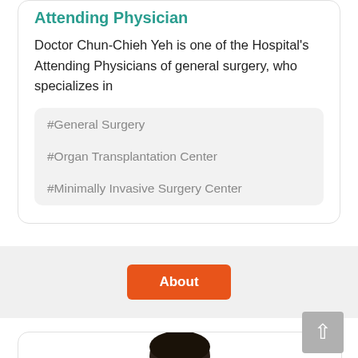Attending Physician
Doctor Chun-Chieh Yeh is one of the Hospital's Attending Physicians of general surgery, who specializes in
#General Surgery
#Organ Transplantation Center
#Minimally Invasive Surgery Center
About
[Figure (photo): Top portion of a person's head with dark hair, partially visible at bottom of page]